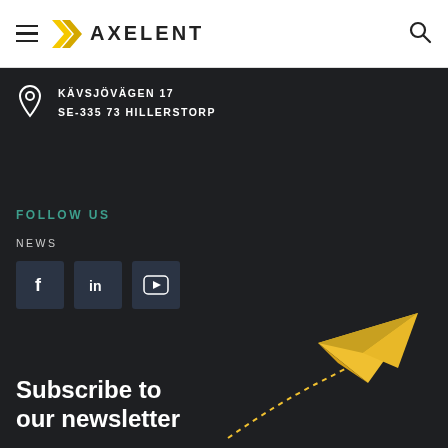AXELENT (navigation bar with hamburger menu and search icon)
KÄVSJÖVÄGEN 17
SE-335 73 HILLERSTORP
FOLLOW US
NEWS
[Figure (illustration): Three social media icon buttons: Facebook (f), LinkedIn (in), YouTube (play button), dark slate background]
Subscribe to our newsletter
[Figure (illustration): Yellow paper plane illustration flying upward with dashed curved trail on dark background]